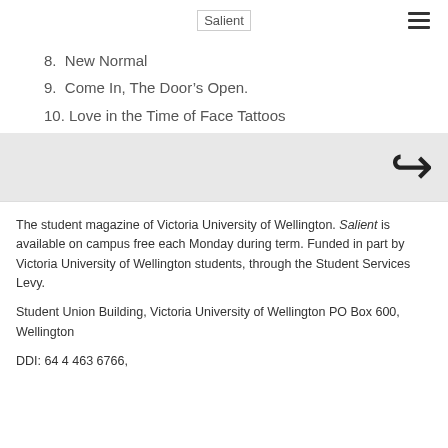Salient
8. New Normal
9. Come In, The Door's Open.
10. Love in the Time of Face Tattoos
[Figure (other): Gray navigation band with a double-headed left arrow icon on the right side]
The student magazine of Victoria University of Wellington. Salient is available on campus free each Monday during term. Funded in part by Victoria University of Wellington students, through the Student Services Levy.
Student Union Building, Victoria University of Wellington PO Box 600, Wellington
DDI: 64 4 463 6766,